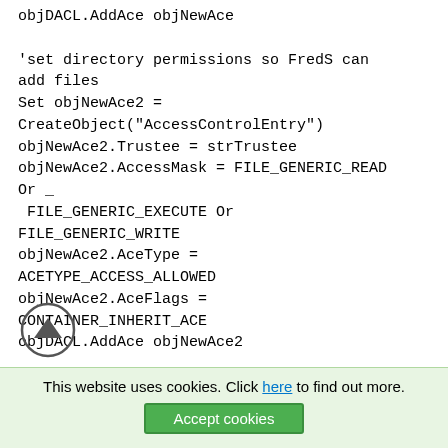objDACL.AddAce objNewAce

'set directory permissions so FredS can
add files
Set objNewAce2 =
CreateObject("AccessControlEntry")
objNewAce2.Trustee = strTrustee
objNewAce2.AccessMask = FILE_GENERIC_READ
Or _
 FILE_GENERIC_EXECUTE Or
FILE_GENERIC_WRITE
objNewAce2.AceType =
ACETYPE_ACCESS_ALLOWED
objNewAce2.AceFlags =
CONTAINER_INHERIT_ACE
objDACL.AddAce objNewAce2
This website uses cookies. Click here to find out more.
Accept cookies